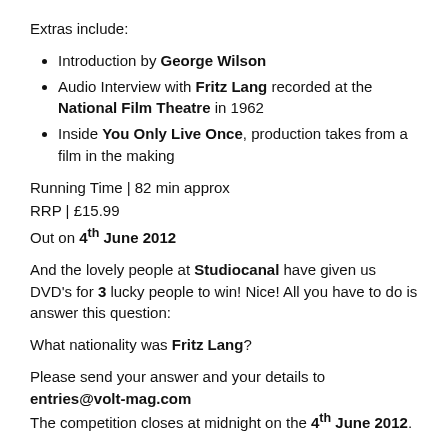Extras include:
Introduction by George Wilson
Audio Interview with Fritz Lang recorded at the National Film Theatre in 1962
Inside You Only Live Once, production takes from a film in the making
Running Time | 82 min approx
RRP | £15.99
Out on 4th June 2012
And the lovely people at Studiocanal have given us DVD's for 3 lucky people to win! Nice! All you have to do is answer this question:
What nationality was Fritz Lang?
Please send your answer and your details to entries@volt-mag.com
The competition closes at midnight on the 4th June 2012.
Words by Anna Bang